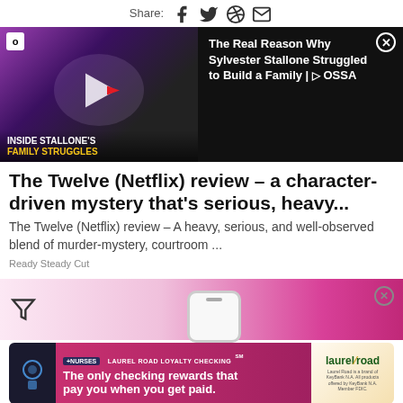Share: [facebook] [twitter] [whatsapp] [email]
[Figure (screenshot): Video thumbnail showing Sylvester Stallone with text 'INSIDE STALLONE'S FAMILY STRUGGLES' and play button overlay, next to info panel 'The Real Reason Why Sylvester Stallone Struggled to Build a Family | OSSA']
The Twelve (Netflix) review – a character-driven mystery that's serious, heavy...
The Twelve (Netflix) review – A heavy, serious, and well-observed blend of murder-mystery, courtroom ...
Ready Steady Cut
[Figure (screenshot): Pink gradient ad strip with filter icon and close button]
[Figure (screenshot): Laurel Road Loyalty Checking bank advertisement: '+NURSES LAUREL ROAD LOYALTY CHECKING℠ - The only checking rewards that pay you when you get paid.' with Laurel Road logo and fine print.]